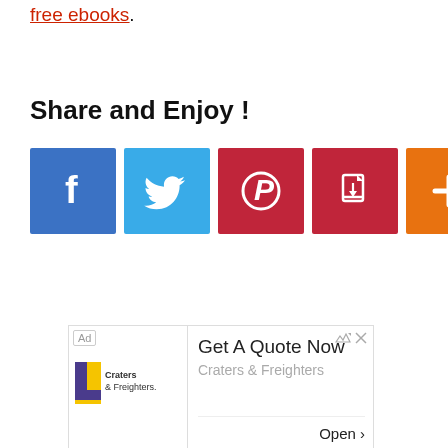free ebooks.
Share and Enjoy !
[Figure (infographic): Five social sharing buttons: Facebook (blue), Twitter (light blue), Pinterest (dark red), PDF/save (dark red), and a plus/more button (orange), each displayed as colored squares with white icons.]
[Figure (infographic): Advertisement box for Craters & Freighters with 'Get A Quote Now' headline, logo on left, and 'Open' button at bottom right.]